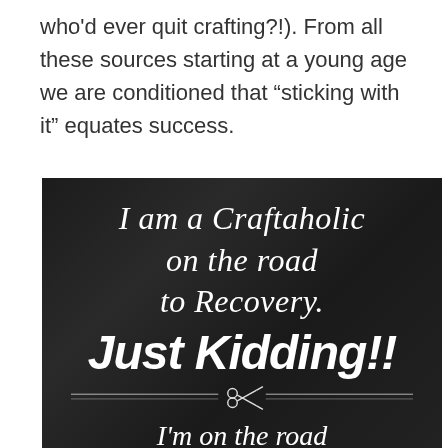who'd ever quit crafting?!). From all these sources starting at a young age we are conditioned that “sticking with it” equates success.
[Figure (photo): Dark chalkboard-style image with white italic text reading 'I am a Craftaholic on the road to Recovery.' followed by bold italic 'Just Kidding!!' with a scissors graphic divider, then italic "I'm on the road" at the bottom]